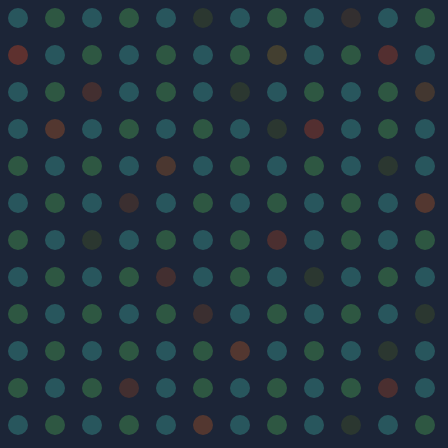[Figure (illustration): Dark navy blue background with a grid pattern of colored dots (teal, green, red/rust, olive) arranged in regular rows and columns]
There was much talk about our choice... didn't grasp the basic premise that the... get that month. For some reason the i... (which came out in November and was... doesn't arrive in the UK or Europe unti... Three).
Of course, it didn't help that some misg... Orange Box. As we said in the Big Thr... anti-hype!
As usual we told you about the US and... retail releases for the week.
SingStar featured well with news of the... SingStar pre-order deal that comes in... party games like SingStar and Buzz! re...
Finally, we revealed some nice Blu-ray... video from Rockstar that shows the un...
Stats for this week:
PS3 Attitude readers mostly us... view the site